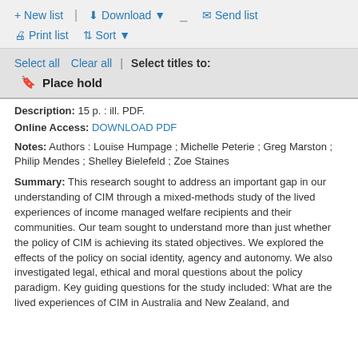+ New list | Download ▼ | Send list
🖨 Print list  ⇕ Sort ▼
Select all   Clear all  |  Select titles to:
🔖 Place hold
Description: 15 p. : ill. PDF.
Online Access: DOWNLOAD PDF
Notes: Authors : Louise Humpage ; Michelle Peterie ; Greg Marston ; Philip Mendes ; Shelley Bielefeld ; Zoe Staines
Summary: This research sought to address an important gap in our understanding of CIM through a mixed-methods study of the lived experiences of income managed welfare recipients and their communities. Our team sought to understand more than just whether the policy of CIM is achieving its stated objectives. We explored the effects of the policy on social identity, agency and autonomy. We also investigated legal, ethical and moral questions about the policy paradigm. Key guiding questions for the study included: What are the lived experiences of CIM in Australia and New Zealand, and